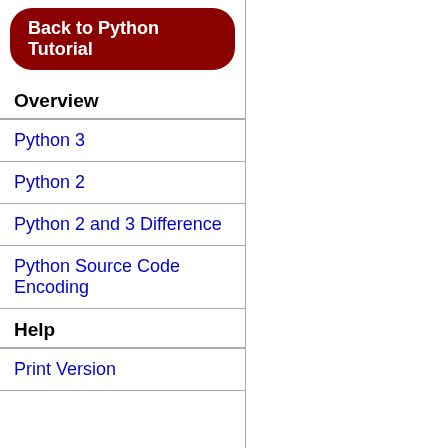Back to Python Tutorial
Overview
Python 3
Python 2
Python 2 and 3 Difference
Python Source Code Encoding
Help
Print Version